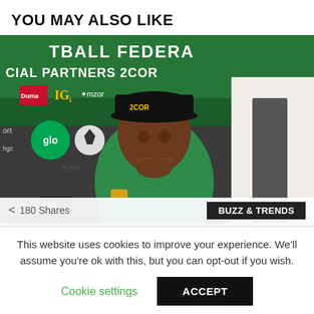YOU MAY ALSO LIKE
[Figure (photo): A man in a green Nike polo shirt and black cap with '2COR' text, sitting at what appears to be a press conference in front of a Nigerian Football Federation banner showing sponsors including IGI, glo, and mzor. Another man in formal wear is visible in the background.]
180 Shares   BUZZ & TRENDS
Nigerian U-23 Team Threaten To Boycott
This website uses cookies to improve your experience. We'll assume you're ok with this, but you can opt-out if you wish.
Cookie settings   ACCEPT